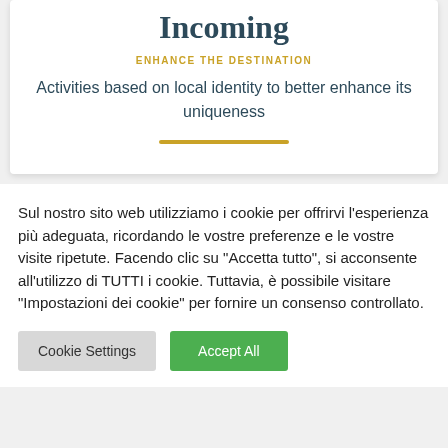Incoming
ENHANCE THE DESTINATION
Activities based on local identity to better enhance its uniqueness
Sul nostro sito web utilizziamo i cookie per offrirvi l'esperienza più adeguata, ricordando le vostre preferenze e le vostre visite ripetute. Facendo clic su "Accetta tutto", si acconsente all'utilizzo di TUTTI i cookie. Tuttavia, è possibile visitare "Impostazioni dei cookie" per fornire un consenso controllato.
Cookie Settings
Accept All